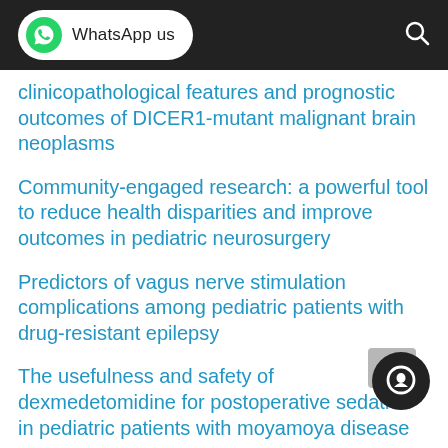WhatsApp us
clinicopathological features and prognostic outcomes of DICER1-mutant malignant brain neoplasms
Community-engaged research: a powerful tool to reduce health disparities and improve outcomes in pediatric neurosurgery
Predictors of vagus nerve stimulation complications among pediatric patients with drug-resistant epilepsy
The usefulness and safety of dexmedetomidine for postoperative sedation in pediatric patients with moyamoya disease
Precision medicine in pediatric temporal...